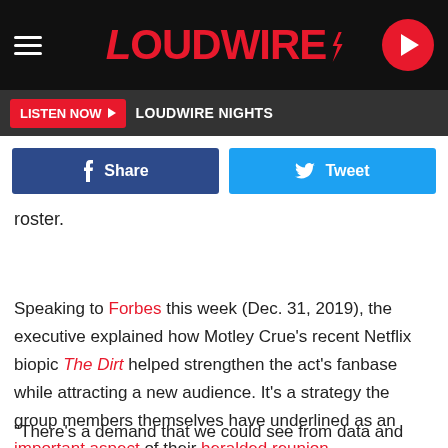LOUDWIRE
LISTEN NOW  LOUDWIRE NIGHTS
[Figure (other): Facebook Share button and Twitter Tweet button]
roster.
Speaking to Forbes this week (Dec. 31, 2019), the executive explained how Motley Crue's recent Netflix biopic The Dirt helped strengthen the act's fanbase while attracting a new audience. It's a strategy the group members themselves have underlined as an important aspect of their heralded reunion.
"There's a demand that we could see from data and